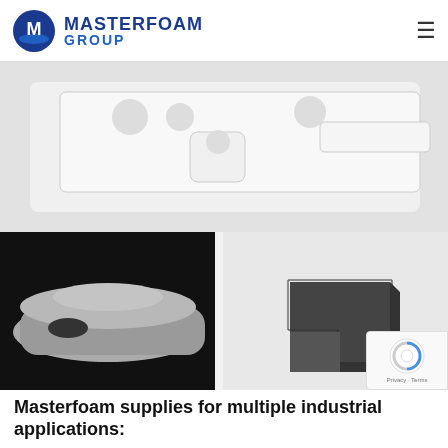[Figure (logo): Masterfoam Group logo with circular M icon and bold text MASTERFOAM GROUP in blue]
[Figure (photo): White foam cut parts with circular holes and rectangular shapes on a light grey background]
[Figure (photo): Left: grey foam cushion/seat pad on black background; Right: dark charcoal foam corner block piece on light grey background]
Masterfoam supplies for multiple industrial applications: